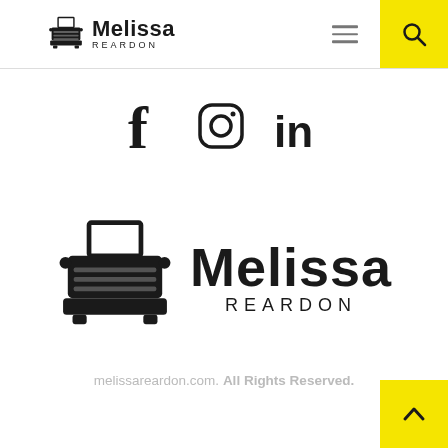Melissa Reardon — header with logo, hamburger menu, search button
[Figure (illustration): Social media icons: Facebook (f), Instagram (camera), LinkedIn (in)]
[Figure (logo): Melissa Reardon logo — typewriter icon with name Melissa and REARDON below]
melissareardon.com. All Rights Reserved.